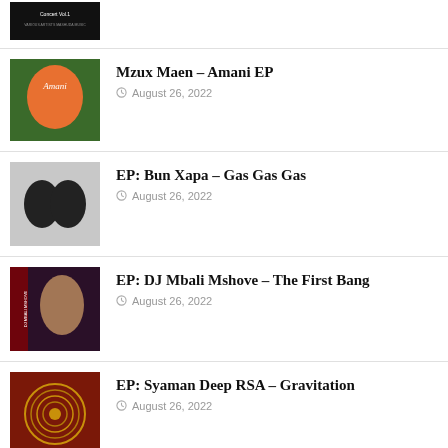Concert Vol.1 / August 26, 2022
Mzux Maen – Amani EP / August 26, 2022
EP: Bun Xapa – Gas Gas Gas / August 26, 2022
EP: DJ Mbali Mshove – The First Bang / August 26, 2022
EP: Syaman Deep RSA – Gravitation / August 26, 2022